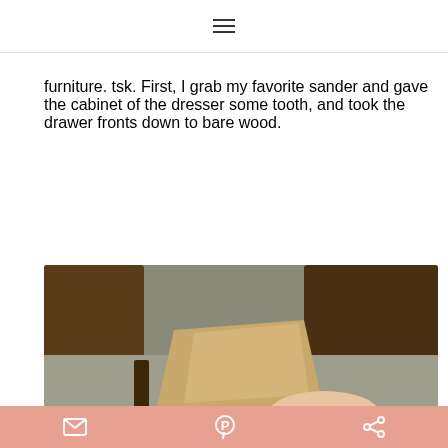≡
furniture. tsk. First, I grab my favorite sander and gave the cabinet of the dresser some tooth, and took the drawer fronts down to bare wood.
[Figure (photo): Top-down view of wooden furniture pieces and a hand holding a yellow sanding tool on a grey carpet floor]
mail icon | pinterest icon | share icon